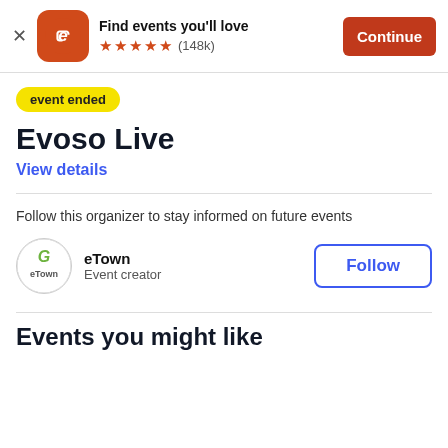[Figure (screenshot): Eventbrite app banner with logo, 'Find events you'll love', 5 stars (148k), and Continue button]
event ended
Evoso Live
View details
Follow this organizer to stay informed on future events
[Figure (logo): eTown circular logo with green letter e and eTown text]
eTown
Event creator
Follow
Events you might like